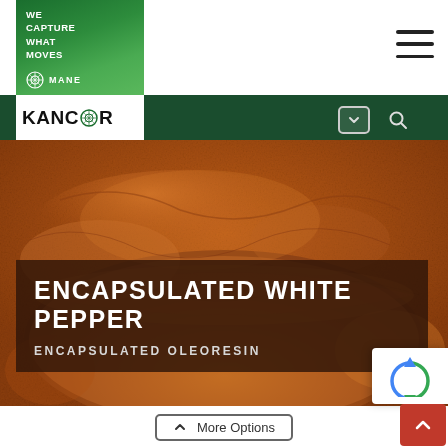[Figure (logo): MANE KANCOR logo: green rectangle with 'WE CAPTURE WHAT MOVES' text and MANE branding icon at top, KANCOR text with circular icon below]
[Figure (photo): Close-up photo of orange-brown spice powder (white pepper oleoresin) in a bowl, filling the hero area]
ENCAPSULATED WHITE PEPPER
ENCAPSULATED OLEORESIN
More Options